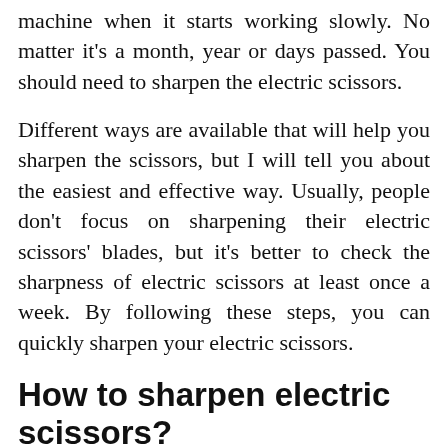machine when it starts working slowly. No matter it's a month, year or days passed. You should need to sharpen the electric scissors.
Different ways are available that will help you sharpen the scissors, but I will tell you about the easiest and effective way. Usually, people don't focus on sharpening their electric scissors' blades, but it's better to check the sharpness of electric scissors at least once a week. By following these steps, you can quickly sharpen your electric scissors.
How to sharpen electric scissors?
Following are the few steps that will help sharpen your electric scissor on your own. You